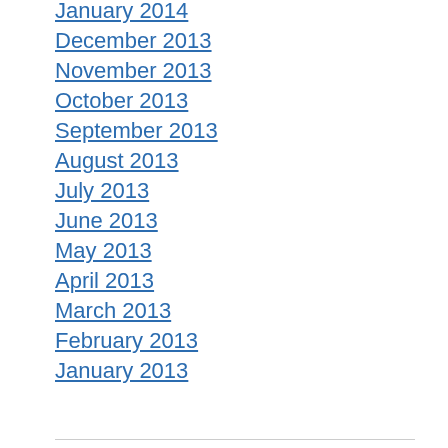January 2014
December 2013
November 2013
October 2013
September 2013
August 2013
July 2013
June 2013
May 2013
April 2013
March 2013
February 2013
January 2013